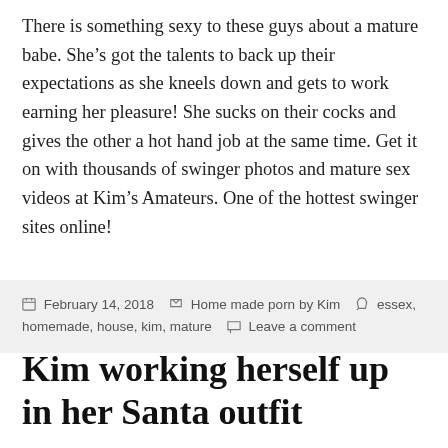There is something sexy to these guys about a mature babe. She’s got the talents to back up their expectations as she kneels down and gets to work earning her pleasure! She sucks on their cocks and gives the other a hot hand job at the same time. Get it on with thousands of swinger photos and mature sex videos at Kim’s Amateurs. One of the hottest swinger sites online!
February 14, 2018  Home made porn by Kim  essex, homemade, house, kim, mature  Leave a comment
Kim working herself up in her Santa outfit